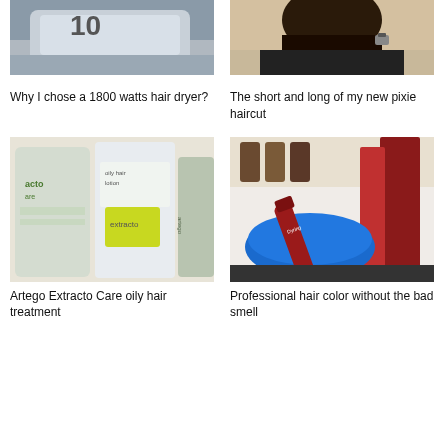[Figure (photo): Partial image of a hair dryer (top cropped), showing silver metallic body]
[Figure (photo): Partial image of a person with short hair, wearing a dark shirt and watch (top cropped)]
Why I chose a 1800 watts hair dryer?
The short and long of my new pixie haircut
[Figure (photo): Artego Extracto Care oily hair lotion products shown side by side]
[Figure (photo): Professional hair color mixing bowl with dye tube and product boxes on countertop]
Artego Extracto Care oily hair treatment
Professional hair color without the bad smell